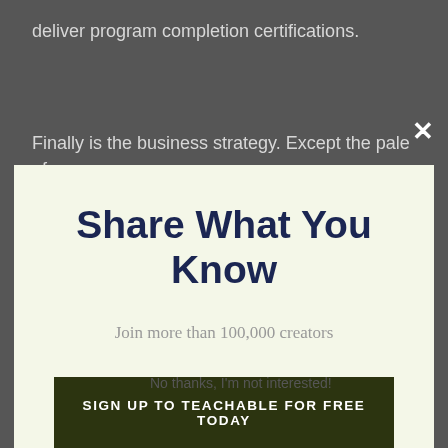deliver program completion certifications.
Finally is the business strategy. Except the pale of
Share What You Know
Join more than 100,000 creators
SIGN UP TO TEACHABLE FOR FREE TODAY
No thanks, I'm not interested!
Zero fees on f
Fundamental quizzes and talking about lectures
Student monitoring